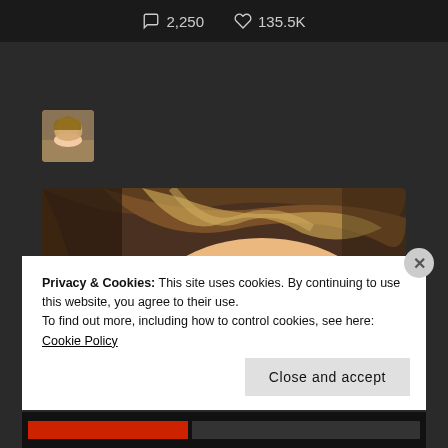2,250   135.5K
[Figure (photo): Small avatar thumbnail of a woman with blonde hair wearing a patterned top]
[Figure (photo): Close-up photo of a woman's face and hair, top of head visible, brown/blonde hair]
Privacy & Cookies: This site uses cookies. By continuing to use this website, you agree to their use.
To find out more, including how to control cookies, see here: Cookie Policy
Close and accept